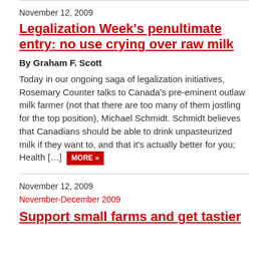November 12, 2009
Legalization Week's penultimate entry: no use crying over raw milk
By Graham F. Scott
Today in our ongoing saga of legalization initiatives, Rosemary Counter talks to Canada's pre-eminent outlaw milk farmer (not that there are too many of them jostling for the top position), Michael Schmidt. Schmidt believes that Canadians should be able to drink unpasteurized milk if they want to, and that it's actually better for you; Health […] MORE »
November 12, 2009
November-December 2009
Support small farms and get tastier